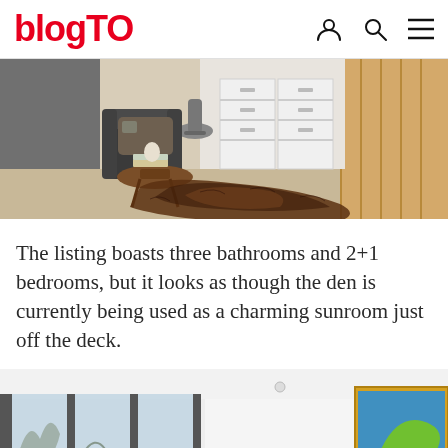blogTO
[Figure (photo): Interior room photo showing a stylish home office/study area with a cowhide rug on the floor, a dark armchair with patterned pillow, a round wooden coffee table with books and a decorative object, a modern office chair in the background, white filing cabinet drawers, and light wood paneled wall.]
The listing boasts three bathrooms and 2+1 bedrooms, but it looks as though the den is currently being used as a charming sunroom just off the deck.
[Figure (photo): Interior photo of a modern room with floor-to-ceiling windows, white walls and ceiling, a hallway with a framed art print showing a green bird/animal on a blue background (appears to be a Kanye-related art piece), and what looks like a home gym area visible through the windows.]